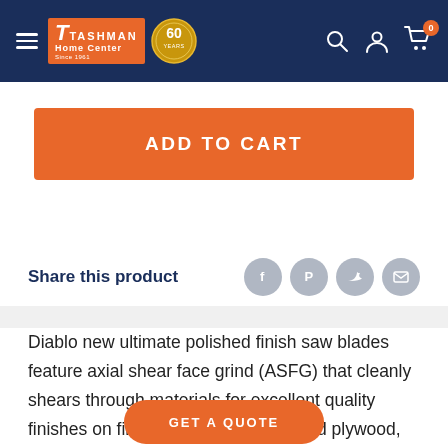Tashman Home Center — Since 1961 (60th anniversary logo)
ADD TO CART
Share this product
Diablo new ultimate polished finish saw blades feature axial shear face grind (ASFG) that cleanly shears through materials for excellent quality finishes on fine molding, hardw... ed plywood,
GET A QUOTE